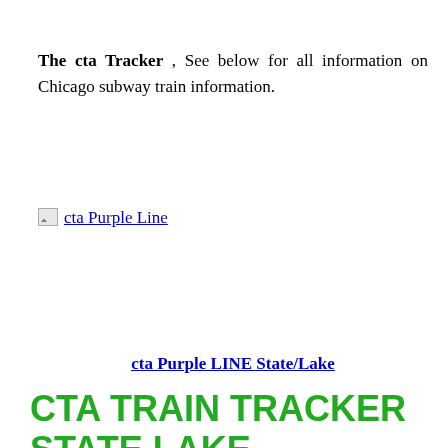The cta Tracker , See below for all information on Chicago subway train information.
[Figure (other): Broken image placeholder with link text 'cta Purple Line']
cta Purple LINE State/Lake
CTA TRAIN TRACKER STATE LAKE